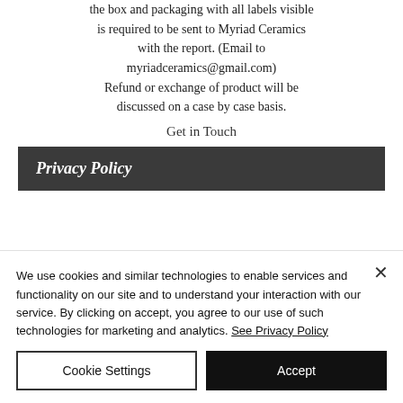the box and packaging with all labels visible is required to be sent to Myriad Ceramics with the report. (Email to myriadceramics@gmail.com) Refund or exchange of product will be discussed on a case by case basis.
Get in Touch
Privacy Policy
We use cookies and similar technologies to enable services and functionality on our site and to understand your interaction with our service. By clicking on accept, you agree to our use of such technologies for marketing and analytics. See Privacy Policy